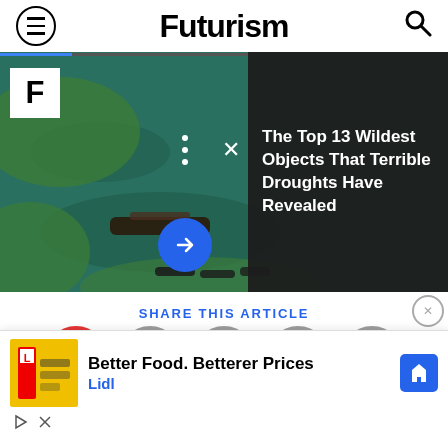Futurism
[Figure (screenshot): Aerial drone photo of boats on green water with rocky shores. A progress bar is overlaid at the top. A dark overlay on the right shows a headline. A blue arrow button and video controls are visible.]
The Top 13 Wildest Objects That Terrible Droughts Have Revealed
SHARE THIS ARTICLE
[Figure (infographic): Row of circular social share buttons: red audio/podcast button, gray Twitter button, gray Facebook button, gray link button, gray email button.]
[Figure (screenshot): Advertisement banner: Lidl ad with yellow image, text 'Better Food. Betterer Prices', Lidl branding in blue, and a blue navigation badge icon.]